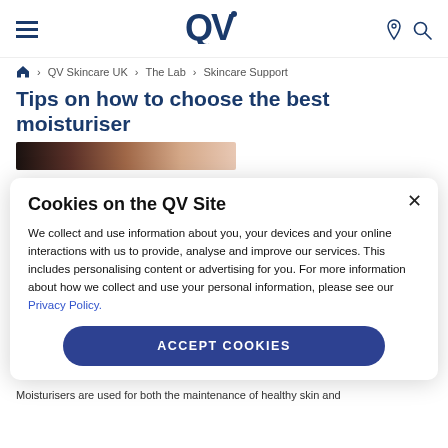QV [logo] | hamburger menu | location icon | search icon
Home > QV Skincare UK > The Lab > Skincare Support
Tips on how to choose the best moisturiser
[Figure (photo): Cropped photo strip showing a person's face/skin, predominantly dark and skin tones]
Cookies on the QV Site
We collect and use information about you, your devices and your online interactions with us to provide, analyse and improve our services. This includes personalising content or advertising for you. For more information about how we collect and use your personal information, please see our Privacy Policy.
ACCEPT COOKIES
Moisturisers are used for both the maintenance of healthy skin and